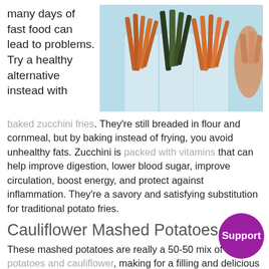many days of fast food can lead to problems. Try a healthy alternative instead with
[Figure (photo): Three paper cones filled with baked vegetable fries — zucchini, sweet potato and other varieties — arranged on a light blue background]
baked zucchini fries. They're still breaded in flour and cornmeal, but by baking instead of frying, you avoid unhealthy fats. Zucchini is packed with vitamins that can help improve digestion, lower blood sugar, improve circulation, boost energy, and protect against inflammation. They're a savory and satisfying substitution for traditional potato fries.
Cauliflower Mashed Potatoes
These mashed potatoes are really a 50-50 mix of potatoes and cauliflower, making for a filling and delicious side dish that is...